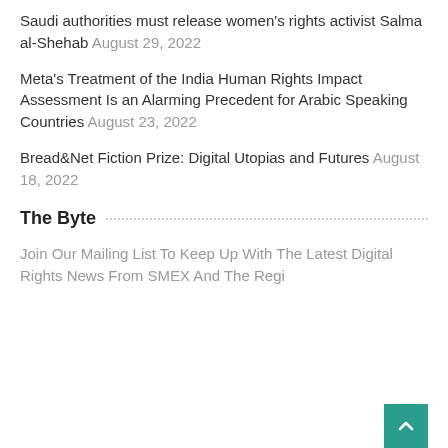Saudi authorities must release women's rights activist Salma al-Shehab August 29, 2022
Meta's Treatment of the India Human Rights Impact Assessment Is an Alarming Precedent for Arabic Speaking Countries August 23, 2022
Bread&Net Fiction Prize: Digital Utopias and Futures August 18, 2022
The Byte
Join Our Mailing List To Keep Up With The Latest Digital Rights News From SMEX And The Regi